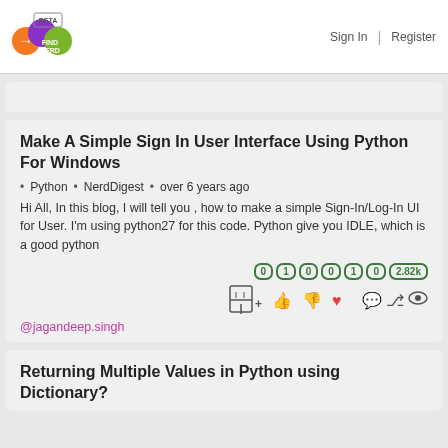FINDNERD BETA | Sign In | Register
Make A Simple Sign In User Interface Using Python For Windows
Python • NerdDigest • over 6 years ago
Hi All, In this blog, I will tell you , how to make a simple Sign-In/Log-In UI for User. I'm using python27 for this code. Python give you IDLE, which is a good python
0 1 0 0 1 0 2.82k
@jagandeep.singh
Returning Multiple Values in Python using Dictionary?